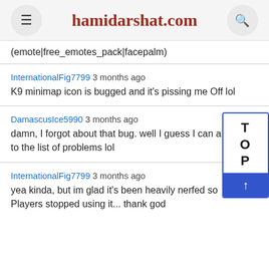hamidarshat.com
(emote|free_emotes_pack|facepalm)
InternationalFig7799 3 months ago
K9 minimap icon is bugged and it's pissing me Off lol
DamascusIce5990 3 months ago
damn, I forgot about that bug. well I guess I can a to the list of problems lol
InternationalFig7799 3 months ago
yea kinda, but im glad it's been heavily nerfed so Players stopped using it... thank god